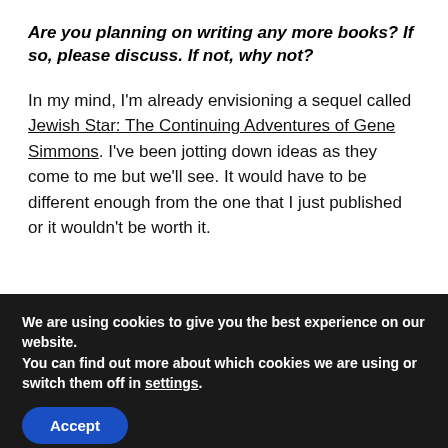Are you planning on writing any more books? If so, please discuss. If not, why not?
In my mind, I'm already envisioning a sequel called Jewish Star: The Continuing Adventures of Gene Simmons. I've been jotting down ideas as they come to me but we'll see. It would have to be different enough from the one that I just published or it wouldn't be worth it.
We are using cookies to give you the best experience on our website.
You can find out more about which cookies we are using or switch them off in settings.
Accept